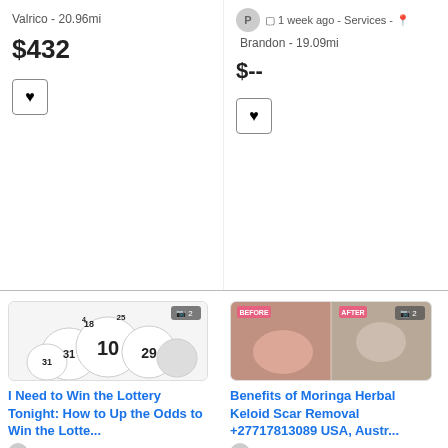Valrico - 20.96mi
$432
1 week ago - Services - Brandon - 19.09mi
$--
[Figure (photo): Lottery balls showing numbers 10, 29, 18, 25, 4, 31, 31 with photo count badge showing camera icon and 2]
I Need to Win the Lottery Tonight: How to Up the Odds to Win the Lotte...
1 month ago - Services - Brandon - 19.09mi
$--
[Figure (photo): Before and after photo of keloid scar removal near an ear, showing pink tissue. Labels BEFORE and AFTER at top, with camera icon and 2 count.]
Benefits of Moringa Herbal Keloid Scar Removal +27717813089 USA, Austr...
2 months ago - Services - Tampa - 12.62mi
$--